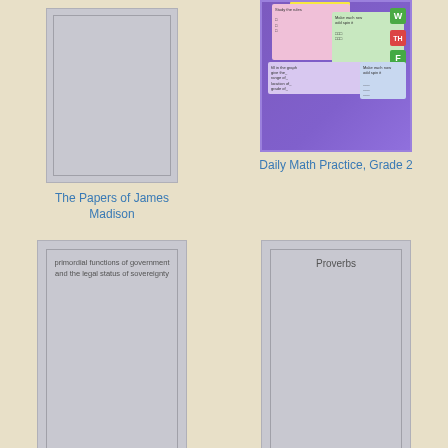[Figure (illustration): Book cover placeholder for The Papers of James Madison - gray rectangle with inner border]
The Papers of James Madison
[Figure (illustration): Colorful book cover for Daily Math Practice Grade 2 with purple background, worksheet cards, and letter blocks W, TH, F]
Daily Math Practice, Grade 2
[Figure (illustration): Book cover for primordial functions of government and the legal status of sovereignty - gray rectangle with text and inner border]
primordial functions of government and the legal status of sovereignty
[Figure (illustration): Book cover for Proverbs - gray rectangle with inner border and centered text Proverbs]
Proverbs